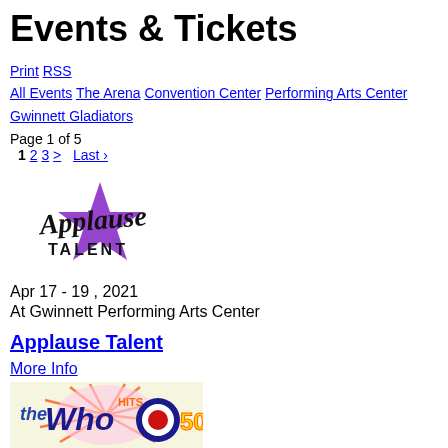Events & Tickets
Print | RSS
All Events | The Arena | Convention Center | Performing Arts Center | Gwinnett Gladiators
Page 1 of 5
1  2  3  >  Last ›
[Figure (logo): Applause Talent logo with stylized script text and purple star]
Apr 17 - 19 , 2021
At Gwinnett Performing Arts Center
Applause Talent
More Info
[Figure (photo): The Who Hits 50! promotional image with colorful graphic design]